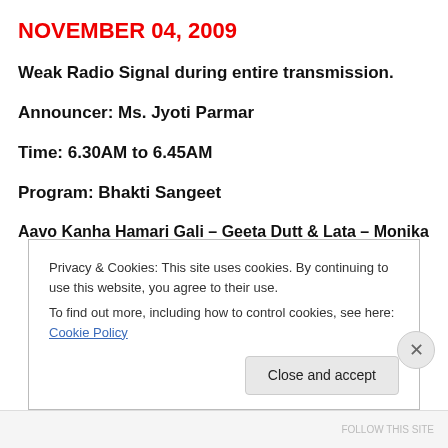NOVEMBER 04, 2009
Weak Radio Signal during entire transmission.
Announcer: Ms. Jyoti Parmar
Time: 6.30AM to 6.45AM
Program: Bhakti Sangeet
Aavo Kanha Hamari Gali – Geeta Dutt & Lata – Monika
Privacy & Cookies: This site uses cookies. By continuing to use this website, you agree to their use.
To find out more, including how to control cookies, see here: Cookie Policy